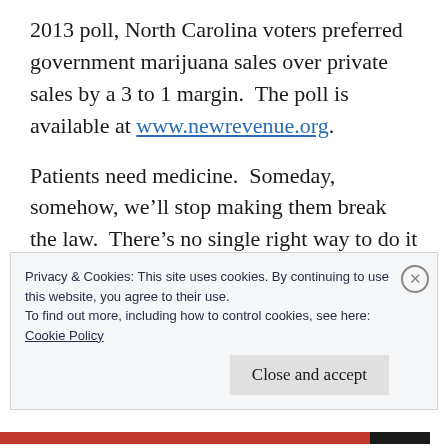2013 poll, North Carolina voters preferred government marijuana sales over private sales by a 3 to 1 margin.  The poll is available at www.newrevenue.org.
Patients need medicine.  Someday, somehow, we'll stop making them break the law.  There's no single right way to do it – but a lot to think about.  I wish you well.
+++
Privacy & Cookies: This site uses cookies. By continuing to use this website, you agree to their use.
To find out more, including how to control cookies, see here:
Cookie Policy
Close and accept